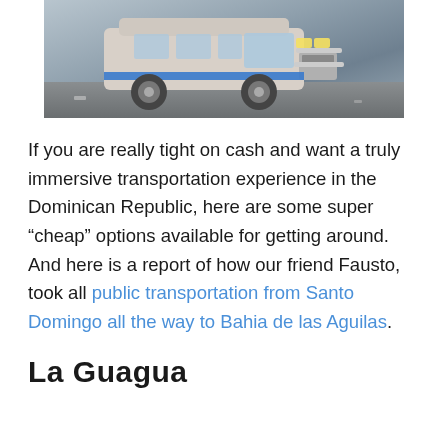[Figure (photo): Front view of a van/minibus on a street, Dominican Republic public transportation guagua]
If you are really tight on cash and want a truly immersive transportation experience in the Dominican Republic, here are some super “cheap” options available for getting around. And here is a report of how our friend Fausto, took all public transportation from Santo Domingo all the way to Bahia de las Aguilas.
La Guagua